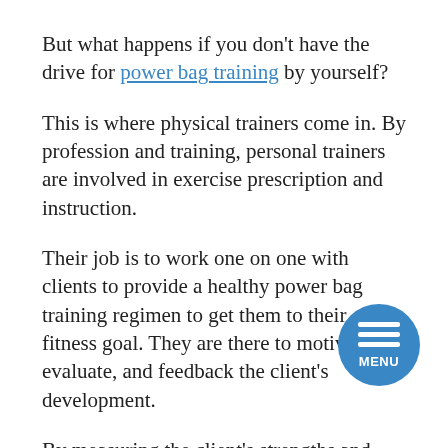But what happens if you don't have the drive for power bag training by yourself?
This is where physical trainers come in. By profession and training, personal trainers are involved in exercise prescription and instruction.
Their job is to work one on one with clients to provide a healthy power bag training regimen to get them to their fitness goal. They are there to motivate, evaluate, and feedback the client's development.
By measuring the client's strengths and weaknesses before the beginning of the training period, they are able to evaluate the progress and recommend a way forward. Not only are personal trainers in place for exercise instructions, but also to educate clients about other aspects of leading a healthy lifestyle. They are able to recommend healthy diets and stress reducing